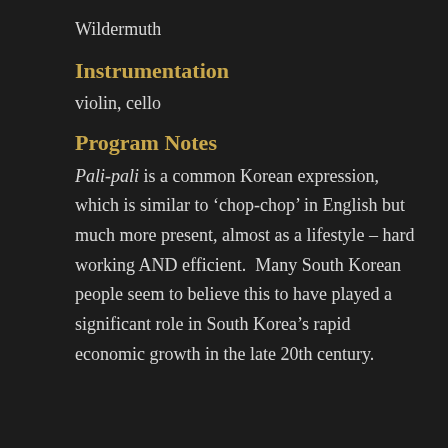Wildermuth
Instrumentation
violin, cello
Program Notes
Pali-pali is a common Korean expression, which is similar to ‘chop-chop’ in English but much more present, almost as a lifestyle – hard working AND efficient.  Many South Korean people seem to believe this to have played a significant role in South Korea’s rapid economic growth in the late 20th century.